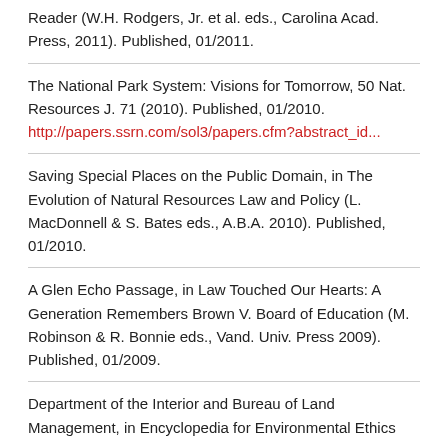Reader (W.H. Rodgers, Jr. et al. eds., Carolina Acad. Press, 2011). Published, 01/2011.
The National Park System: Visions for Tomorrow, 50 Nat. Resources J. 71 (2010). Published, 01/2010.
http://papers.ssrn.com/sol3/papers.cfm?abstract_id...
Saving Special Places on the Public Domain, in The Evolution of Natural Resources Law and Policy (L. MacDonnell & S. Bates eds., A.B.A. 2010). Published, 01/2010.
A Glen Echo Passage, in Law Touched Our Hearts: A Generation Remembers Brown V. Board of Education (M. Robinson & R. Bonnie eds., Vand. Univ. Press 2009). Published, 01/2009.
Department of the Interior and Bureau of Land Management, in Encyclopedia for Environmental Ethics